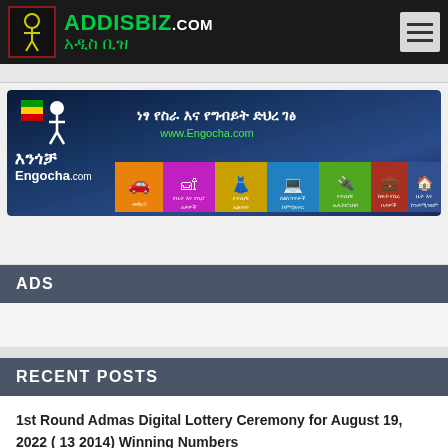ADDISBIZ.COM አዲስ ቢዝ
[Figure (illustration): Engocha.com advertising banner with Ethiopian marketplace categories including cars, furniture, clothing, computers, electronics, jobs, and real estate. Tagline in Amharic: ነፃ የስራ እና የግብይት ድህረ ገፅ, URL: www.Engocha.com]
ADS
RECENT POSTS
1st Round Admas Digital Lottery Ceremony for August 19, 2022 ( 13 2014) Winning Numbers